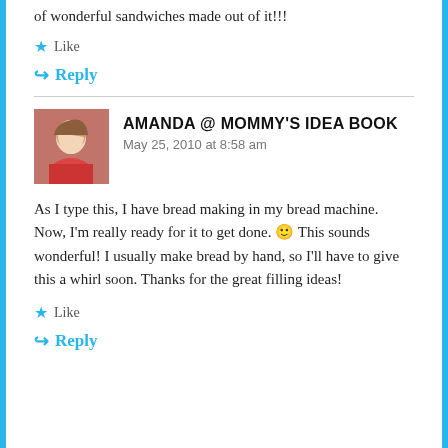of wonderful sandwiches made out of it!!!
★ Like
↪ Reply
AMANDA @ MOMMY'S IDEA BOOK
May 25, 2010 at 8:58 am
As I type this, I have bread making in my bread machine. Now, I'm really ready for it to get done. 🙂 This sounds wonderful! I usually make bread by hand, so I'll have to give this a whirl soon. Thanks for the great filling ideas!
★ Like
↪ Reply